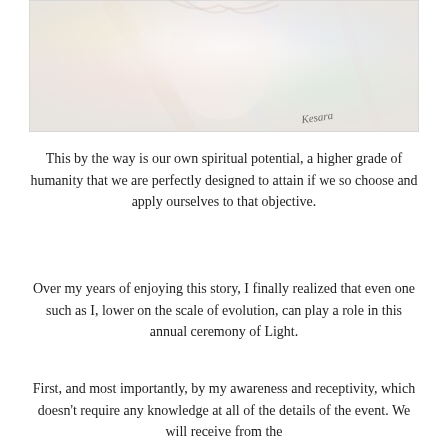[Figure (illustration): A soft pastel watercolor illustration of a luminous, serene face with gentle rainbow hues — pale pink, blue, green, and yellow. An artist's signature 'Kesara' appears in the lower right corner.]
This by the way is our own spiritual potential, a higher grade of humanity that we are perfectly designed to attain if we so choose and apply ourselves to that objective.
Over my years of enjoying this story, I finally realized that even one such as I, lower on the scale of evolution, can play a role in this annual ceremony of Light.
First, and most importantly, by my awareness and receptivity, which doesn't require any knowledge at all of the details of the event. We will receive from the